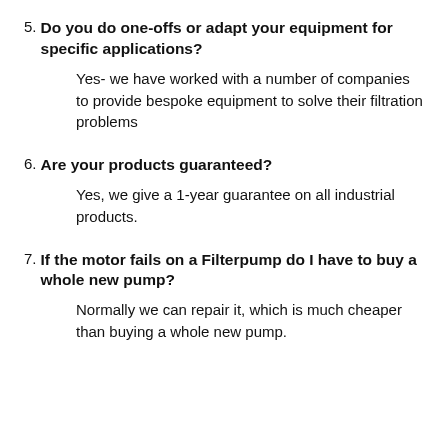5. Do you do one-offs or adapt your equipment for specific applications?
Yes- we have worked with a number of companies to provide bespoke equipment to solve their filtration problems
6. Are your products guaranteed?
Yes, we give a 1-year guarantee on all industrial products.
7. If the motor fails on a Filterpump do I have to buy a whole new pump?
Normally we can repair it, which is much cheaper than buying a whole new pump.